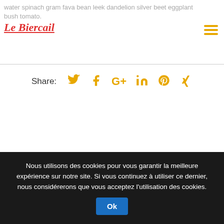water spinach gram fava bean leek dandelion silver beet eggplant bush tomato.
[Figure (logo): Le Biercail cursive red logo with underline]
Share:
[Figure (infographic): Social share icons: Twitter, Facebook, Google+, LinkedIn, Pinterest, Xing — all in gold/amber color]
[Figure (other): Scroll-to-top button: dark square with white double chevron up arrow]
Nous utilisons des cookies pour vous garantir la meilleure expérience sur notre site. Si vous continuez à utiliser ce dernier, nous considérerons que vous acceptez l'utilisation des cookies.
Ok